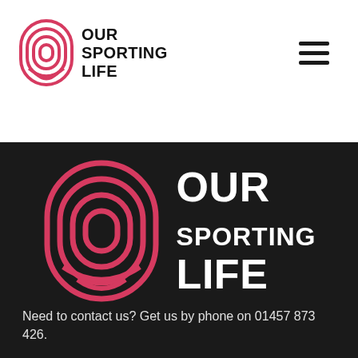[Figure (logo): Our Sporting Life logo in header: pink oval track icon on the left and bold black text OUR SPORTING LIFE on the right]
[Figure (other): Hamburger menu icon (three horizontal lines) in top right of header]
[Figure (logo): Our Sporting Life large logo on dark background: pink oval track icon on the left and bold white text OUR SPORTING LIFE on the right]
Need to contact us? Get us by phone on 01457 873 426.